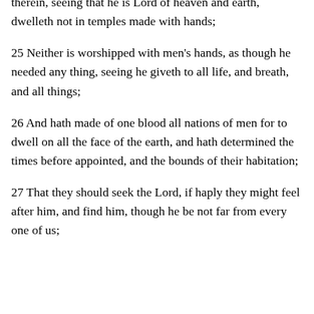therein, seeing that he is Lord of heaven and earth, dwelleth not in temples made with hands;
25 Neither is worshipped with men's hands, as though he needed any thing, seeing he giveth to all life, and breath, and all things;
26 And hath made of one blood all nations of men for to dwell on all the face of the earth, and hath determined the times before appointed, and the bounds of their habitation;
27 That they should seek the Lord, if haply they might feel after him, and find him, though he be not far from every one of us;